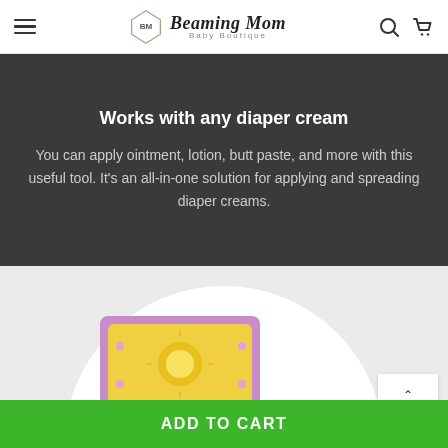Beaming Mom Baby Boutique
Works with any diaper cream
You can apply ointment, lotion, butt paste, and more with this useful tool. It's an all-in-one solution for applying and spreading diaper creams.
[Figure (photo): Product image of a yellow/gold colored item against a light grey background with a white semicircle backdrop]
ADD TO CART